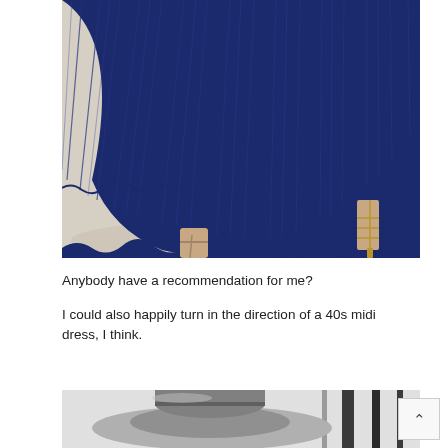[Figure (photo): Close-up of a woman wearing a flowing navy blue pleated maxi skirt and gold strappy sandal heels, photographed against a neutral cream/beige background. Only the skirt, legs, and feet are visible.]
Anybody have a recommendation for me?
I could also happily turn in the direction of a 40s midi dress, I think.
[Figure (photo): Partial view of a black and white photograph showing a person wearing a wide-brim hat, with dark bamboo or pole-like structures in the background.]